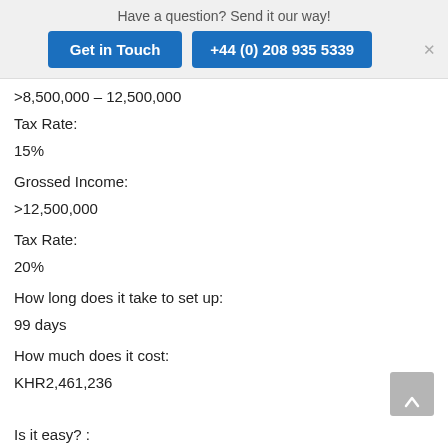Have a question? Send it our way! | Get in Touch | +44 (0) 208 935 5339
>8,500,000 – 12,500,000
Tax Rate:
15%
Grossed Income:
>12,500,000
Tax Rate:
20%
How long does it take to set up:
99 days
How much does it cost:
KHR2,461,236
Is it easy? :
Starting a Business Rank: 183/190 (Source: World Bank)
How to File Taxes in: